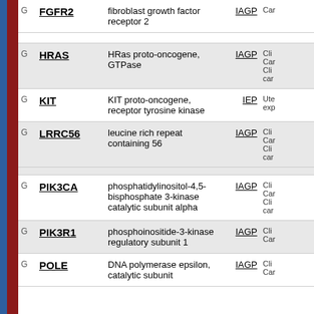|  | Gene | Description | Code | Info |
| --- | --- | --- | --- | --- |
| G | FGFR2 | fibroblast growth factor receptor 2 | IAGP | Car |
| G | HRAS | HRas proto-oncogene, GTPase | IAGP | Cli Car Cli car |
| G | KIT | KIT proto-oncogene, receptor tyrosine kinase | IEP | Ute exp |
| G | LRRC56 | leucine rich repeat containing 56 | IAGP | Cli Car Cli car |
| G | PIK3CA | phosphatidylinositol-4,5-bisphosphate 3-kinase catalytic subunit alpha | IAGP | Cli Car Cli car |
| G | PIK3R1 | phosphoinositide-3-kinase regulatory subunit 1 | IAGP | Cli Car |
| G | POLE | DNA polymerase epsilon, catalytic subunit | IAGP | Cli Car |
[Figure (screenshot): A popup UI overlay with thumbs-up and thumbs-down buttons, a red close button (x), and a 'Send Message' button on a blue rounded rectangle background.]